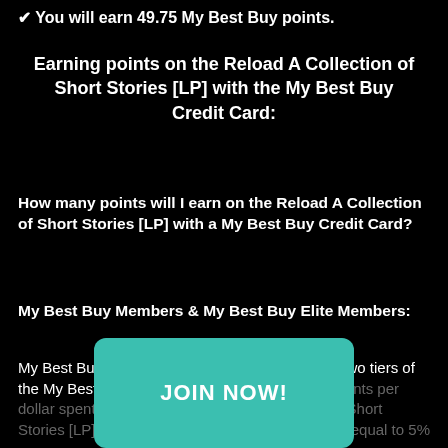✔ You will earn 49.75 My Best Buy points.
Earning points on the Reload A Collection of Short Stories [LP] with the My Best Buy Credit Card:
How many points will I earn on the Reload A Collection of Short Stories [LP] with a My Best Buy Credit Card?
My Best Buy Members & My Best Buy Elite Members:
My Best Buy cardholders who are within the first two tiers of the My Best Buy rewards program will earn 2.5 points per dollar spent. When buying Reload A Collection of Short Stories [LP] they will earn 99.75 points and that is equal to 5% back.